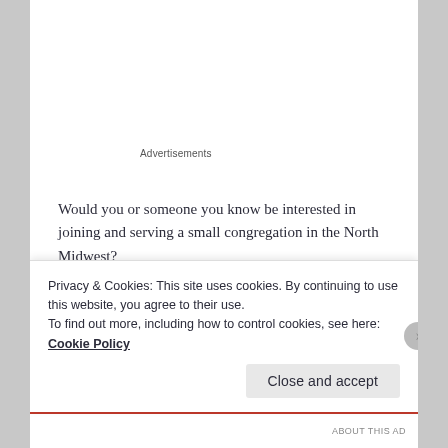Advertisements
Would you or someone you know be interested in joining and serving a small congregation in the North Midwest?
Why Start this Ministry in Mankato, MN?
Mankato is a fast growing area with new houses and jobs becoming available regularly. There are numerous employment opportunities for healthcare professionals in particular as part of the Mayo Clinic system based in Minnesota.
Privacy & Cookies: This site uses cookies. By continuing to use this website, you agree to their use.
To find out more, including how to control cookies, see here: Cookie Policy
Close and accept